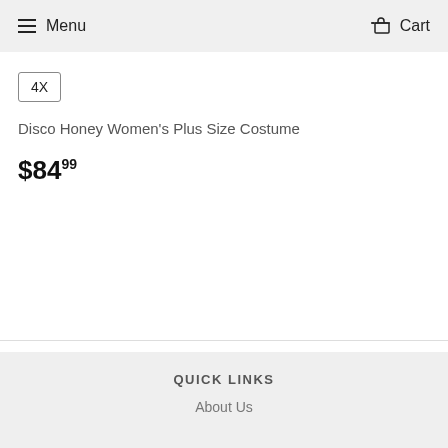Menu  Cart
4X
Disco Honey Women's Plus Size Costume
$84.99
QUICK LINKS
About Us